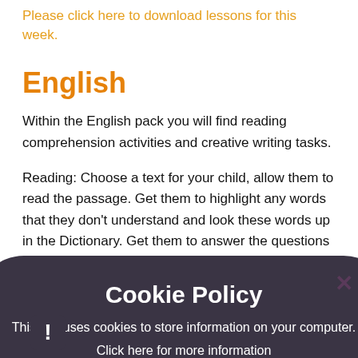Please click here to download lessons for this week.
English
Within the English pack you will find reading comprehension activities and creative writing tasks.
Reading: Choose a text for your child, allow them to read the passage. Get them to highlight any words that they don't understand and look these words up in the Dictionary. Get them to answer the questions set. Make sure they understand the format of the question before answering.
Creative writing: Look at the image and the instructions on it. Children should draw a picture and write sentences on the paper.
Please also spend time reading with your child and ask them questions to check that they understand the
[Figure (other): Cookie Policy modal popup overlay with dark rounded background. Title: 'Cookie Policy'. Body text: 'This site uses cookies to store information on your computer.' Link text: 'Click here for more information'. Two buttons: 'Allow Cookies' and 'Deny Cookies'. Close button (x) at top right. Warning icon at bottom left.]